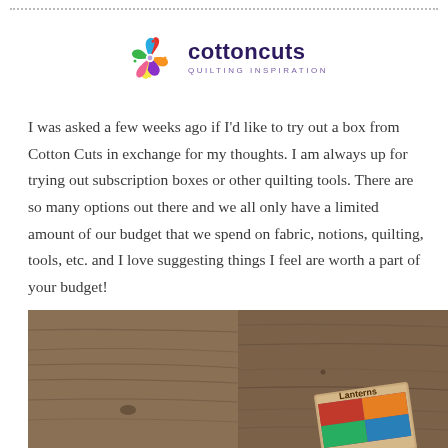[Figure (logo): Cotton Cuts logo with colorful quilting circle icon and text 'cottoncuts QUILTING INSPIRATION']
I was asked a few weeks ago if I'd like to try out a box from Cotton Cuts in exchange for my thoughts. I am always up for trying out subscription boxes or other quilting tools. There are so many options out there and we all only have a limited amount of our budget that we spend on fabric, notions, quilting, tools, etc. and I love suggesting things I feel are worth a part of your budget!
[Figure (photo): Photo of a wooden table surface with a quilting pattern booklet labeled 'Lanterns' partially visible in the lower right corner]